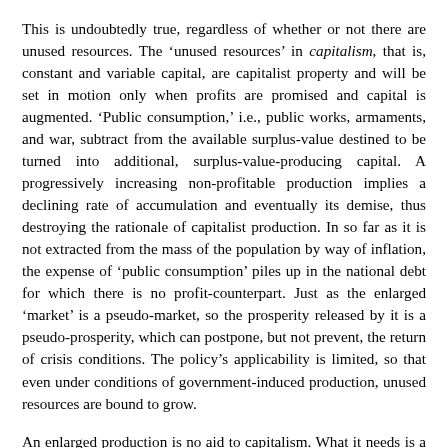This is undoubtedly true, regardless of whether or not there are unused resources. The 'unused resources' in capitalism, that is, constant and variable capital, are capitalist property and will be set in motion only when profits are promised and capital is augmented. 'Public consumption,' i.e., public works, armaments, and war, subtract from the available surplus-value destined to be turned into additional, surplus-value-producing capital. A progressively increasing non-profitable production implies a declining rate of accumulation and eventually its demise, thus destroying the rationale of capitalist production. In so far as it is not extracted from the mass of the population by way of inflation, the expense of 'public consumption' piles up in the national debt for which there is no profit-counterpart. Just as the enlarged 'market' is a pseudo-market, so the prosperity released by it is a pseudo-prosperity, which can postpone, but not prevent, the return of crisis conditions. The policy's applicability is limited, so that even under conditions of government-induced production, unused resources are bound to grow.
An enlarged production is no aid to capitalism. What it needs is a larger production of profits to counteract the tendency of the rate of profit to fall. In dealing with the mixed economy, Mandel forgets his Marxist learning altogether, and his exposition becomes self-contradictory. While pointing out that state interventions are necessary to ensure the profitability of the monopolies, he asserts